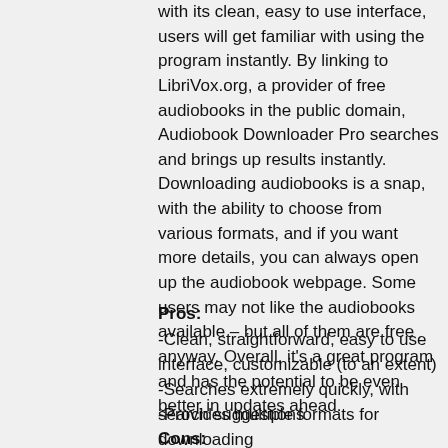with its clean, easy to use interface, users will get familiar with using the program instantly. By linking to LibriVox.org, a provider of free audiobooks in the public domain, Audiobook Downloader Pro searches and brings up results instantly. Downloading audiobooks is a snap, with the ability to choose from various formats, and if you want more details, you can always open up the audiobook webpage. Some users may not like the audiobooks available – but all of them are free anyway. Overall, it's a great program and has the potential to be even better in updates ahead.
Pros:
-Clean, straightforward, easy to use interface, customizable (to an extent)
-Searches extremely quickly, with search suggestions
-Provides multiple formats for downloading
-Provides a link to the audiobook page at LibriVox.org
-Pause, play, and open the folder of a downloaded audiobook
-Audiobooks are completely free!
Cons: